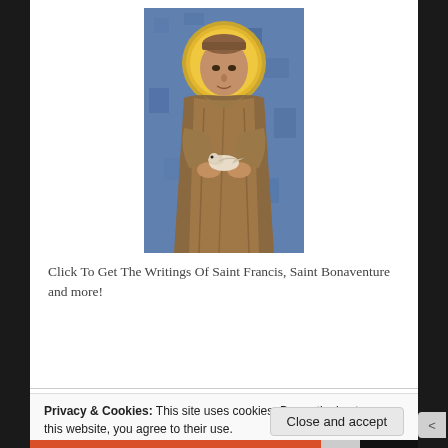[Figure (illustration): Medieval painting of Saint Francis of Assisi with golden halo, wearing brown Franciscan robes, holding a bird, against a blue background]
Click To Get The Writings Of Saint Francis, Saint Bonaventure and more!
Privacy & Cookies: This site uses cookies. By continuing to use this website, you agree to their use.
To find out more, including how to control cookies, see here: Cookie Policy